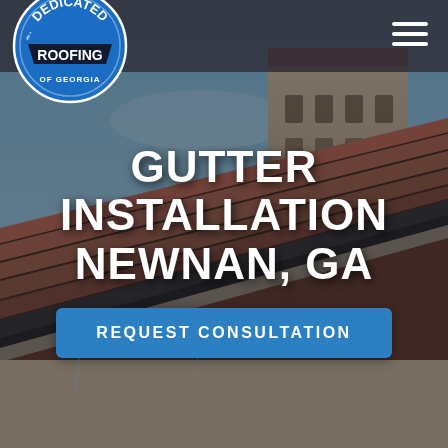[Figure (photo): Aerial/close-up photo of a roof with terracotta tiles, dark gutters, and a large chimney structure against a blue sky. The image is dimmed with a dark overlay.]
[Figure (logo): Dedicated Roofing of Georgia logo — circular blue badge with white text reading DEDICATED ROOFING and OF GEORGIA on a dark banner.]
GUTTER INSTALLATION NEWNAN, GA
REQUEST CONSULTATION